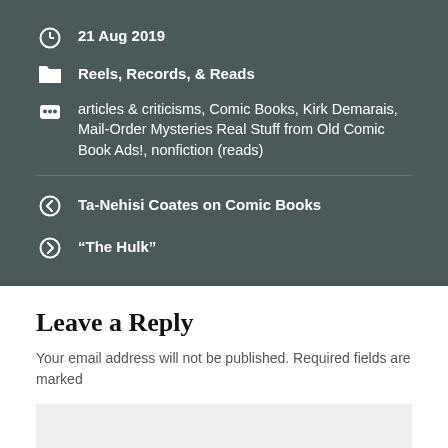21 Aug 2019
Reels, Records, & Reads
articles & criticisms, Comic Books, Kirk Demarais, Mail-Order Mysteries Real Stuff from Old Comic Book Ads!, nonfiction (reads)
Ta-Nehisi Coates on Comic Books
“The Hulk”
Leave a Reply
Your email address will not be published. Required fields are marked